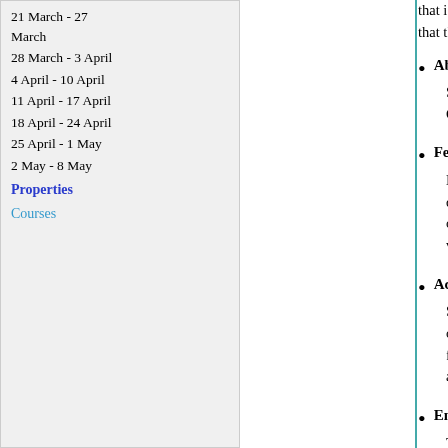21 March - 27 March
28 March - 3 April
4 April - 10 April
11 April - 17 April
18 April - 24 April
25 April - 1 May
2 May - 8 May
Properties
Courses
that is the most solu... that the least-soluble
Absorption of moist... Sugars are hygroscop... Cakes made with ho...
Fermentation — Most sugars, except b... dioxide gas and alco... other baked products... volatilises during bak...
Acid hydrolysis — Sucrose is easily hyd... on. The end products... fructose. This mixtur... are not appreciably a...
Enzyme hydrolysis — The enzyme sucrose... hydrolyse some of th... is done to produce so...